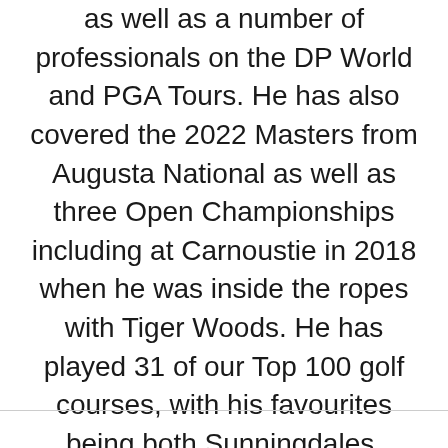as well as a number of professionals on the DP World and PGA Tours. He has also covered the 2022 Masters from Augusta National as well as three Open Championships including at Carnoustie in 2018 when he was inside the ropes with Tiger Woods. He has played 31 of our Top 100 golf courses, with his favourites being both Sunningdales, Woodhall Spa, Old Head and Alwoodley. He currently plays at West Byfleet Golf Club in Surrey, where his